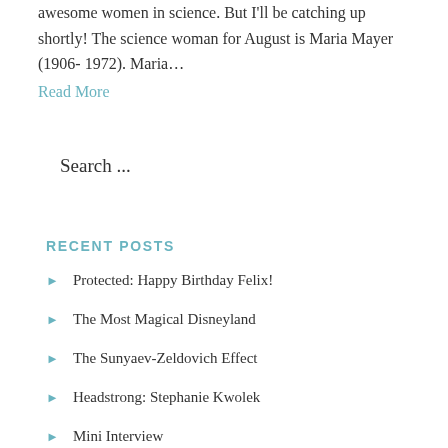awesome women in science. But I'll be catching up shortly! The science woman for August is Maria Mayer (1906- 1972). Maria...
Read More
Search ...
RECENT POSTS
Protected: Happy Birthday Felix!
The Most Magical Disneyland
The Sunyaev-Zeldovich Effect
Headstrong: Stephanie Kwolek
Mini Interview